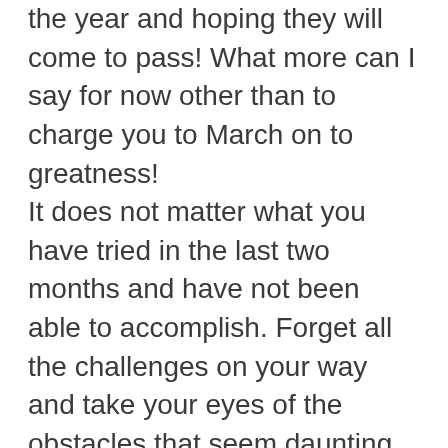the year and hoping they will come to pass! What more can I say for now other than to charge you to March on to greatness! It does not matter what you have tried in the last two months and have not been able to accomplish. Forget all the challenges on your way and take your eyes of the obstacles that seem daunting. Look on the brighter side and let your brain speak to your legs to March on to greatness. You and I know that there is much more ahead of you than what you have lost in the past! There is far more ahead of you compared to the things you have not been able to accomplish. Someone once said that the reason we have a calendar is because we need to have an end and a beginning. When things are going really tough, they are also timed and we can be so glad that it is the end of a week or the end of a month and we